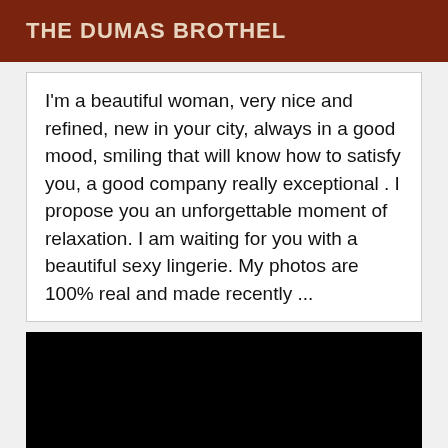THE DUMAS BROTHEL
I'm a beautiful woman, very nice and refined, new in your city, always in a good mood, smiling that will know how to satisfy you, a good company really exceptional . I propose you an unforgettable moment of relaxation. I am waiting for you with a beautiful sexy lingerie. My photos are 100% real and made recently ...
[Figure (photo): Black rectangular image area, fully black with no visible content.]